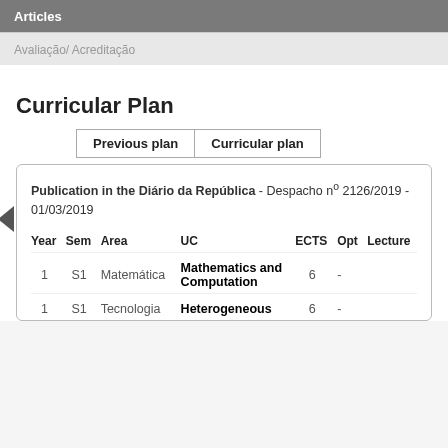Articles
Avaliação/ Acreditação
Curricular Plan
Previous plan | Curricular plan
Publication in the Diário da República - Despacho nº 2126/2019 - 01/03/2019
| Year | Sem | Area | UC | ECTS | Opt | Lecture |
| --- | --- | --- | --- | --- | --- | --- |
| 1 | S1 | Matemática | Mathematics and Computation | 6 | - |  |
| 1 | S1 | Tecnologia | Heterogeneous | 6 | - |  |